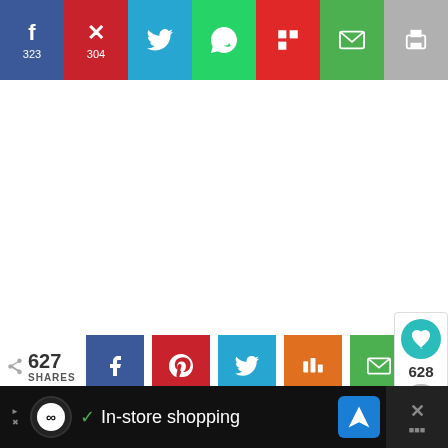[Figure (screenshot): Social share bar at top with Facebook (323), Pinterest (304), Twitter, WhatsApp, Flipboard, Email, Print buttons]
[Figure (screenshot): Middle social share row showing 627 SHARES with Facebook, Pinterest, Twitter, Mix, Email buttons]
[Figure (screenshot): Right floating widget showing heart button, 628 count, and share button]
SUBSCRIBE TO BLOG VIA EMAIL
[Figure (screenshot): What's Next panel with thumbnail and title '30 Genius Ways to Reu...']
[Figure (screenshot): Bottom advertisement bar with In-store shopping text and navigation icon]